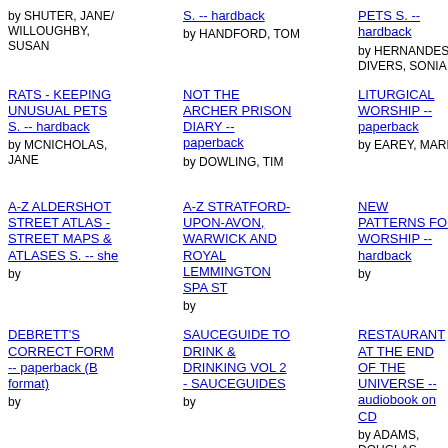by SHUTER, JANE/WILLOUGHBY, SUSAN
S. -- hardback by HANDFORD, TOM
PETS S. -- hardback by HERNANDES-DIVERS, SONIA
-- hardback by HERN DIVERS,
RATS - KEEPING UNUSUAL PETS S. -- hardback by MCNICHOLAS, JANE
NOT THE ARCHER PRISON DIARY -- paperback by DOWLING, TIM
LITURGICAL WORSHIP -- paperback by EAREY, MARK
SHIPPE COUNT OF MAY PAL BO counterpaper by COUS
A-Z ALDERSHOT STREET ATLAS - STREET MAPS & ATLASES S. -- she by
A-Z STRATFORD-UPON-AVON, WARWICK AND ROYAL LEMMINGTON SPA ST by
NEW PATTERNS FOR WORSHIP -- hardback by
WE APE OUR M WITH S EXPECT pape by BRISI
DEBRETT'S CORRECT FORM -- paperback (B format) by
SAUCEGUIDE TO DRINK & DRINKING VOL 2 - SAUCEGUIDES by
RESTAURANT AT THE END OF THE UNIVERSE -- audiobook on CD by ADAMS, DOUGLAS
ETHEL ERNEST paperback by BRIGG RAYMOND RAYMOND